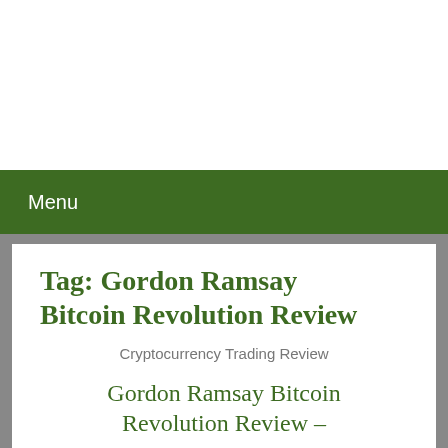Menu
Tag: Gordon Ramsay Bitcoin Revolution Review
Cryptocurrency Trading Review
Gordon Ramsay Bitcoin Revolution Review –